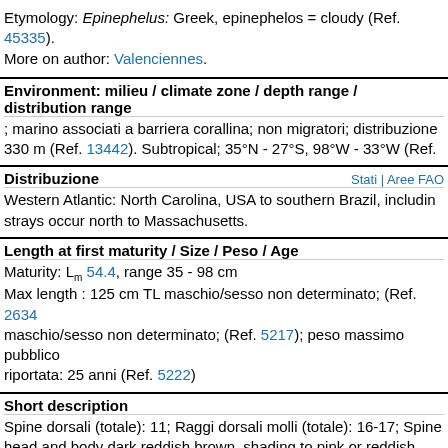Etymology: Epinephelus: Greek, epinephelos = cloudy (Ref. 45335). More on author: Valenciennes.
Environment: milieu / climate zone / depth range / distribution range
; marino associati a barriera corallina; non migratori; distribuzione 330 m (Ref. 13442). Subtropical; 35°N - 27°S, 98°W - 33°W (Ref.
Distribuzione
Western Atlantic: North Carolina, USA to southern Brazil, including strays occur north to Massachusetts.
Length at first maturity / Size / Peso / Age
Maturity: Lm 54.4, range 35 - 98 cm
Max length : 125 cm TL maschio/sesso non determinato; (Ref. 2634 maschio/sesso non determinato; (Ref. 5217); peso massimo pubblico riportata: 25 anni (Ref. 5222)
Short description
Spine dorsali (totale): 11; Raggi dorsali molli (totale): 16-17; Spine head and body dark reddish brown, shading to pink or reddish below being the largest. Vertical fins angulate in larger fish. Pelvic fins sh ventral and pectoral-fin base. Bases of soft dorsal and anal fins cov